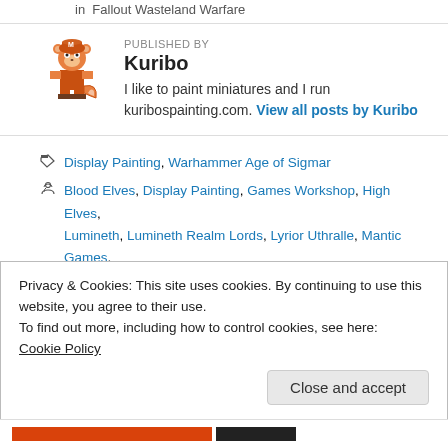in  Fallout Wasteland Warfare
[Figure (illustration): Pixel art avatar of a raccoon/tanuki character in orange and brown colors]
PUBLISHED BY
Kuribo
I like to paint miniatures and I run kuribospainting.com. View all posts by Kuribo
Display Painting, Warhammer Age of Sigmar
Blood Elves, Display Painting, Games Workshop, High Elves, Lumineth, Lumineth Realm Lords, Lyrior Uthralle, Mantic Games, Painting Progress, Warhammer, Warhammer Age of Sigmar, Warhammer Fantasy
Privacy & Cookies: This site uses cookies. By continuing to use this website, you agree to their use.
To find out more, including how to control cookies, see here: Cookie Policy